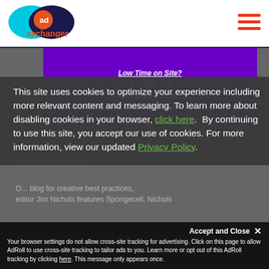[Figure (logo): AdExchanger logo — cyan oval overlapping dark navy oval with orange 'ad' circle badge and 'exchanger' text below in orange]
[Figure (illustration): Hamburger menu icon — three horizontal red/orange bars stacked]
[Figure (screenshot): Partial webpage background showing purple banner with italic white text 'Low Time on Site? it may be marketing fraud.' and a 'Find out' button, overlaid by dark gray cookie consent modal and AdRoll tracking bar]
This site uses cookies to optimize your experience including more relevant content and messaging. To learn more about disabling cookies in your browser, click here.  By continuing to use this site, you accept our use of cookies. For more information, view our updated Privacy Policy.
blog for creative best practices, editor Jim Nichols features Spongecell. Nichols
Accept and Close ✕
Your browser settings do not allow cross-site tracking for advertising. Click on this page to allow AdRoll to use cross-site tracking to tailor ads to you. Learn more or opt out of this AdRoll tracking by clicking here. This message only appears once.